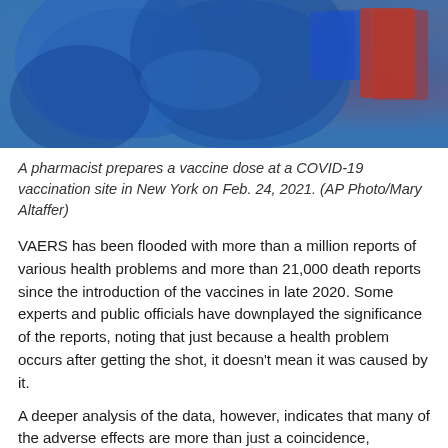[Figure (photo): A pharmacist in blue gloves prepares a vaccine dose at a COVID-19 vaccination site. Red and blue storage boxes visible in background.]
A pharmacist prepares a vaccine dose at a COVID-19 vaccination site in New York on Feb. 24, 2021. (AP Photo/Mary Altaffer)
VAERS has been flooded with more than a million reports of various health problems and more than 21,000 death reports since the introduction of the vaccines in late 2020. Some experts and public officials have downplayed the significance of the reports, noting that just because a health problem occurs after getting the shot, it doesn't mean it was caused by it.
A deeper analysis of the data, however, indicates that many of the adverse effects are more than just a coincidence, according to Jessica Rose, a computational biologist who's been studying the data for at least nine months.